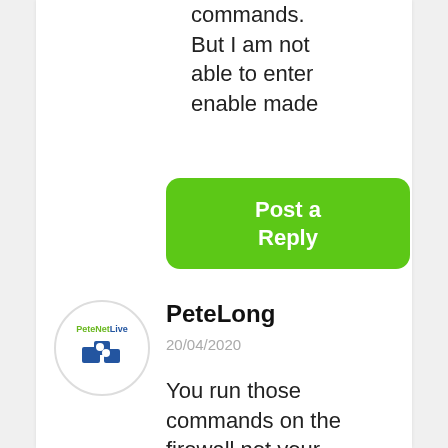commands. But I am not able to enter enable made
[Figure (other): Green 'Post a Reply' button with rounded corners]
PeteLong
20/04/2020
[Figure (logo): PeteNetLive avatar circle with green text and blue puzzle piece logo]
You run those commands on the firewall not your MacBook?